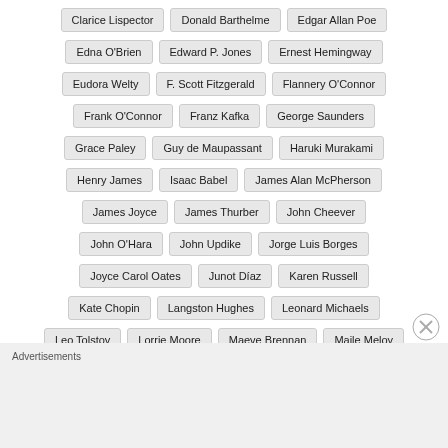Clarice Lispector
Donald Barthelme
Edgar Allan Poe
Edna O'Brien
Edward P. Jones
Ernest Hemingway
Eudora Welty
F. Scott Fitzgerald
Flannery O'Connor
Frank O'Connor
Franz Kafka
George Saunders
Grace Paley
Guy de Maupassant
Haruki Murakami
Henry James
Isaac Babel
James Alan McPherson
James Joyce
James Thurber
John Cheever
John O'Hara
John Updike
Jorge Luis Borges
Joyce Carol Oates
Junot Díaz
Karen Russell
Kate Chopin
Langston Hughes
Leonard Michaels
Leo Tolstoy
Lorrie Moore
Maeve Brennan
Maile Meloy
Mary Gaitskill
Nathaniel Hawthorne
Neil Gaiman
O. Henry
P.G. Wodehouse
Patricia Highsmith
Advertisements